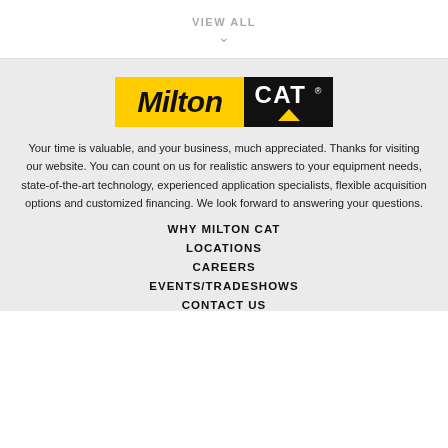VIEW ALL
[Figure (logo): Milton CAT logo — yellow background with bold italic Milton text and black background with white CAT text and yellow triangle]
Your time is valuable, and your business, much appreciated. Thanks for visiting our website. You can count on us for realistic answers to your equipment needs, state-of-the-art technology, experienced application specialists, flexible acquisition options and customized financing. We look forward to answering your questions.
WHY MILTON CAT
LOCATIONS
CAREERS
EVENTS/TRADESHOWS
CONTACT US